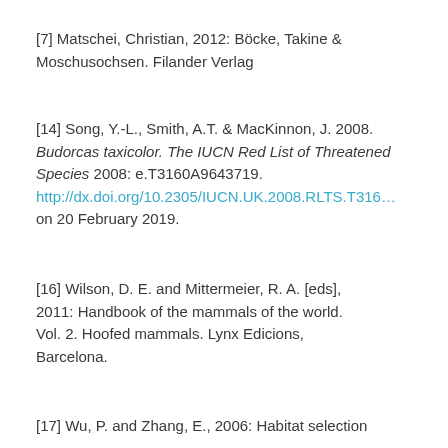[7] Matschei, Christian, 2012: Böcke, Takine & Moschusochsen. Filander Verlag
[14] Song, Y.-L., Smith, A.T. & MacKinnon, J. 2008. Budorcas taxicolor. The IUCN Red List of Threatened Species 2008: e.T3160A9643719. http://dx.doi.org/10.2305/IUCN.UK.2008.RLTS.T316... on 20 February 2019.
[16] Wilson, D. E. and Mittermeier, R. A. [eds], 2011: Handbook of the mammals of the world. Vol. 2. Hoofed mammals. Lynx Edicions, Barcelona.
[17] Wu, P. and Zhang, E., 2006: Habitat selection